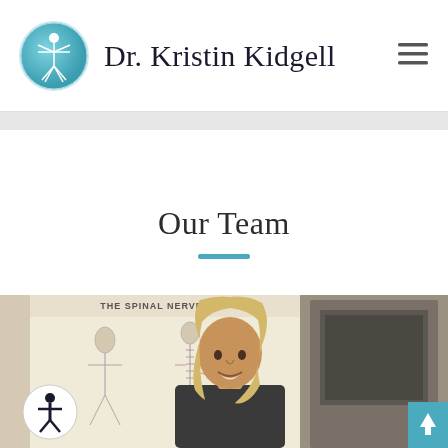Dr. Kristin Kidgell
Our Team
[Figure (photo): Photo of a woman with blonde hair smiling, standing in front of a medical poster titled 'THE SPINAL NERVES' showing anatomical diagrams of the human nervous system, inside a chiropractic or medical office.]